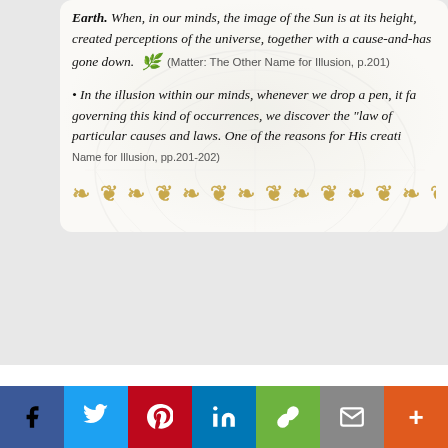Earth. When, in our minds, the image of the Sun is at its height, created perceptions of the universe, together with a cause-and-effect relationship, has gone down. (Matter: The Other Name for Illusion, p.201)
In the illusion within our minds, whenever we drop a pen, it falls... governing this kind of occurrences, we discover the "law of" particular causes and laws. One of the reasons for His creati... Name for Illusion, pp.201-202)
Do you not see how your Lord Streche... made them stationary, Then We ...
[Figure (illustration): Decorative golden floral/vine ornament divider bar]
[Figure (illustration): Social sharing bar with Facebook, Twitter, Pinterest, LinkedIn, Link, Email, and More buttons]